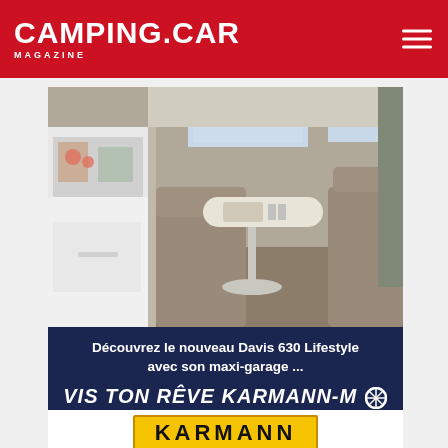CAMPING.CAR MAGAZINE
[Figure (photo): Interior of a Karmann-Mobil Davis 630 Lifestyle motorhome showing dining area with table, upholstered seats in grey/beige, kitchen area on left, and front cab view through windshield]
Découvrez le nouveau Davis 630 Lifestyle avec son maxi-garage ...
VIS TON RÊVE KARMANN-MOBIL
[Figure (logo): Karmann Mobil logo: yellow rectangle with KARMANN text and Mobil cursive text with wheel icon]
[Figure (photo): Lower portion of motorhome interior showing German flag sticker, storage area, and bicycle in garage area]